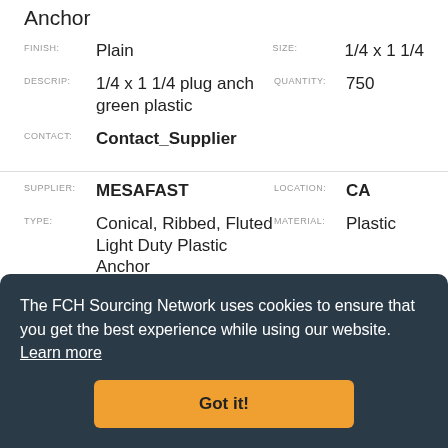Anchor
FINISH: Plain
SIZE: 1/4 x 1 1/4
DESCRIP: 1/4 x 1 1/4 plug anch green plastic
QUANTITY: 750
CONTACT: Contact_Supplier
SUPPLIER: MESAFAST
LOCATION: CA
TYPE: Conical, Ribbed, Fluted Light Duty Plastic Anchor
MATERIAL: Plastic
The FCH Sourcing Network uses cookies to ensure that you get the best experience while using our website. Learn more
Got it!